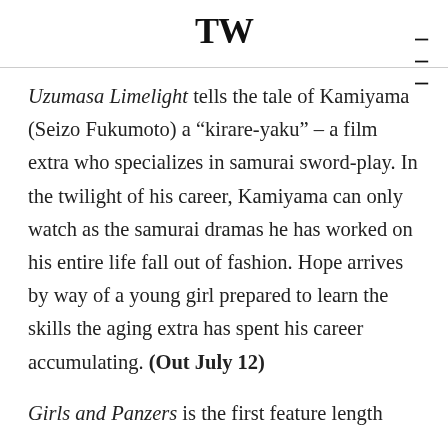TW
Uzumasa Limelight tells the tale of Kamiyama (Seizo Fukumoto) a “kirare-yaku” – a film extra who specializes in samurai sword-play. In the twilight of his career, Kamiyama can only watch as the samurai dramas he has worked on his entire life fall out of fashion. Hope arrives by way of a young girl prepared to learn the skills the aging extra has spent his career accumulating. (Out July 12)
Girls and Panzers is the first feature length